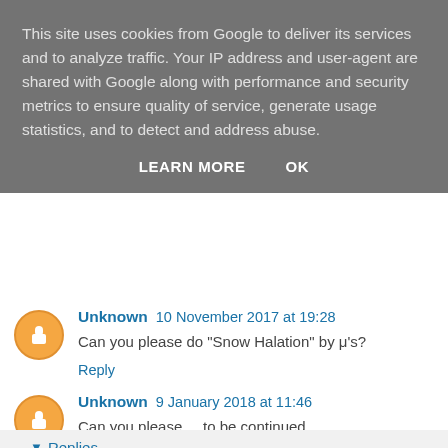This site uses cookies from Google to deliver its services and to analyze traffic. Your IP address and user-agent are shared with Google along with performance and security metrics to ensure quality of service, generate usage statistics, and to detect and address abuse.
LEARN MORE   OK
Unknown  10 November 2017 at 19:28
Can you please do "Snow Halation" by μ's?
Reply
Unknown  9 January 2018 at 11:46
Can you please.... to be continued
Reply
▾  Replies